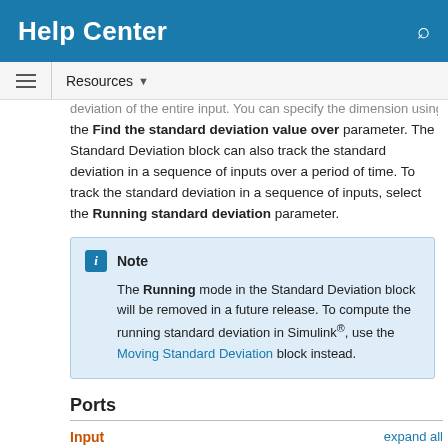Help Center
deviation of the entire input. You can specify the dimension using the Find the standard deviation value over parameter. The Standard Deviation block can also track the standard deviation in a sequence of inputs over a period of time. To track the standard deviation in a sequence of inputs, select the Running standard deviation parameter.
Note
The Running mode in the Standard Deviation block will be removed in a future release. To compute the running standard deviation in Simulink®, use the Moving Standard Deviation block instead.
Ports
Input
expand all